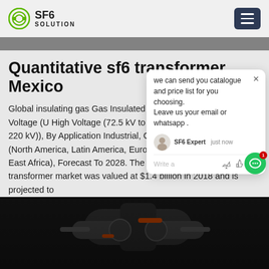SF6 SOLUTION
[Figure (photo): Top image strip showing partial view of industrial equipment]
Quantitative sf6 transformer Mexico
Global insulating gas Gas Insulated Market by Type (Medium Voltage (U High Voltage (72.5 kV to 220 kV), E Voltage (Above 220 kV)), By Application Industrial, Commercial) And By Region (North America, Latin America, Europe, Asia Pacific and Middle East Africa), Forecast To 2028. The global sf6 gas gas insulated transformer market was valued at $1.4 billion in 2018 and is projected to
[Figure (screenshot): Chat popup with SF6 Expert assistant offering to send catalogue and price list, asking user to leave email or whatsapp]
[Figure (photo): Bottom image showing industrial SF6 transformer equipment in dark setting]